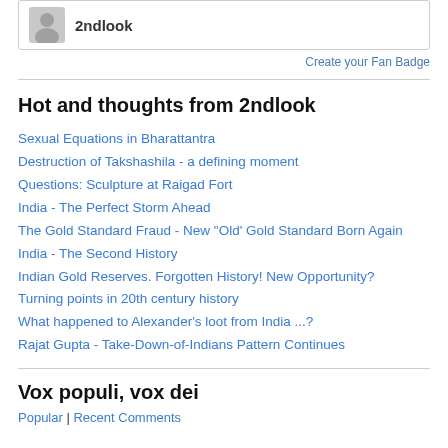2ndlook
Create your Fan Badge
Hot and thoughts from 2ndlook
Sexual Equations in Bharattantra
Destruction of Takshashila - a defining moment
Questions: Sculpture at Raigad Fort
India - The Perfect Storm Ahead
The Gold Standard Fraud - New "Old' Gold Standard Born Again
India - The Second History
Indian Gold Reserves. Forgotten History! New Opportunity?
Turning points in 20th century history
What happened to Alexander's loot from India ...?
Rajat Gupta - Take-Down-of-Indians Pattern Continues
Vox populi, vox dei
Popular | Recent Comments